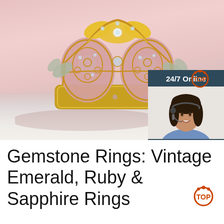[Figure (photo): A decorative ornate gold and pink crown/jewelry box with crystals and floral filigree patterns, photographed on a pink surface with soft shadows. Includes a customer service chat widget overlay on the right side showing a woman wearing a headset, with text '24/7 Online', 'Click here for free chat!', and a 'QUOTATION' button.]
Gemstone Rings: Vintage Emerald, Ruby & Sapphire Rings